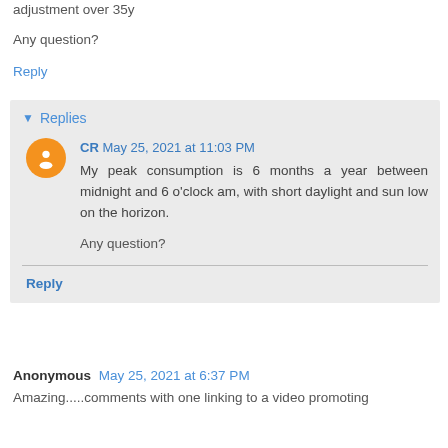adjustment over 35y
Any question?
Reply
Replies
CR  May 25, 2021 at 11:03 PM
My peak consumption is 6 months a year between midnight and 6 o'clock am, with short daylight and sun low on the horizon.

Any question?
Reply
Anonymous  May 25, 2021 at 6:37 PM
Amazing.....comments with one linking to a video promoting